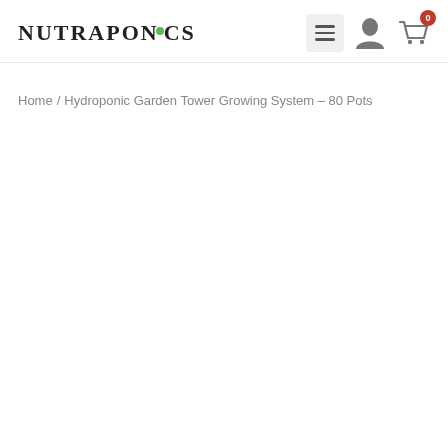NUTRAPONICS — navigation header with menu, user, and cart icons
Home / Hydroponic Garden Tower Growing System – 80 Pots